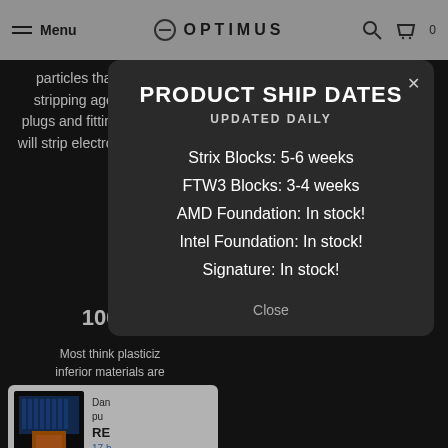Menu | OPTIMUS
particles that look cool but are slightly abrasive and act like a stripping agent in your system. Opaque fluids will quickly strip plugs and fittings of their finishes and certain anti-fungal additives will strip electrolytic nickel and mix with the fluids, causing massive gunk issues common in liquid builds.
100%
Most think plasticiz inferior materials are EPDM O-Rings are f found in che
[Figure (photo): Circuit board with orange CPU/GPU chip visible]
Dan pu RE 17 h
PRODUCT SHIP DATES
UPDATED DAILY
Strix Blocks: 5-6 weeks
FTW3 Blocks: 3-4 weeks
AMD Foundation: In stock!
Intel Foundation: In stock!
Signature: In stock!
Close